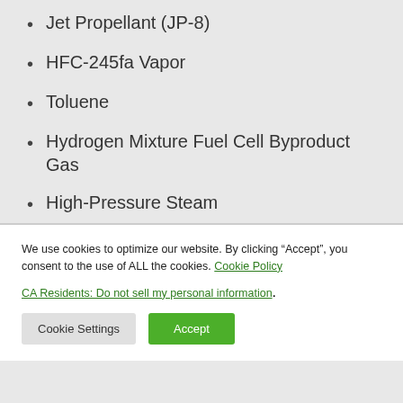Jet Propellant (JP-8)
HFC-245fa Vapor
Toluene
Hydrogen Mixture Fuel Cell Byproduct Gas
High-Pressure Steam
We use cookies to optimize our website. By clicking “Accept”, you consent to the use of ALL the cookies. Cookie Policy
CA Residents: Do not sell my personal information.